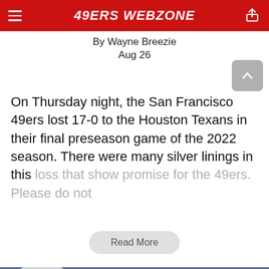49ERS WEBZONE
By Wayne Breezie
Aug 26
On Thursday night, the San Francisco 49ers lost 17-0 to the Houston Texans in their final preseason game of the 2022 season. There were many silver linings in this loss that show promise for the 49ers. Please do not
Read More
[Figure (photo): San Francisco 49ers quarterback #5 in white uniform throwing a pass during a preseason game against the Houston Texans, stadium crowd visible in background, Chevy advertisement visible on scoreboard]